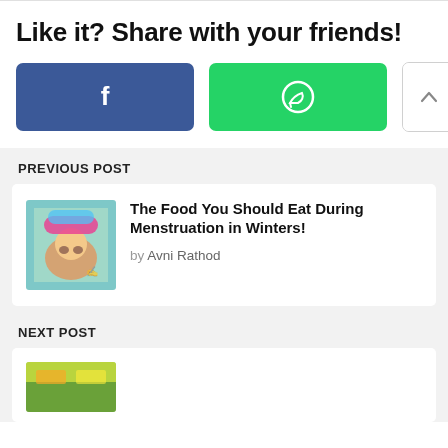Like it? Share with your friends!
[Figure (other): Social share buttons: Facebook (blue), WhatsApp (green), and two arrow buttons (up and down)]
PREVIOUS POST
[Figure (photo): Thumbnail image of a child with a colorful hat]
The Food You Should Eat During Menstruation in Winters!
by Avni Rathod
NEXT POST
[Figure (photo): Thumbnail image at the bottom, partially visible, with green/yellow colors]